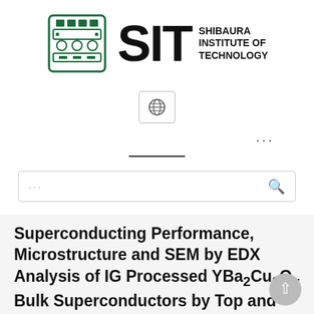[Figure (logo): Shibaura Institute of Technology (SIT) logo with emblem and text]
[Figure (other): Globe icon in a rounded rectangle box]
[Figure (other): Three dots ellipsis menu indicator and a horizontal divider line]
[Figure (other): Search bar with ellipsis placeholder and magnifying glass icon]
Superconducting Performance, Microstructure and SEM by EDX Analysis of IG Processed YBa2Cu3Oy Bulk Superconductors by Top and